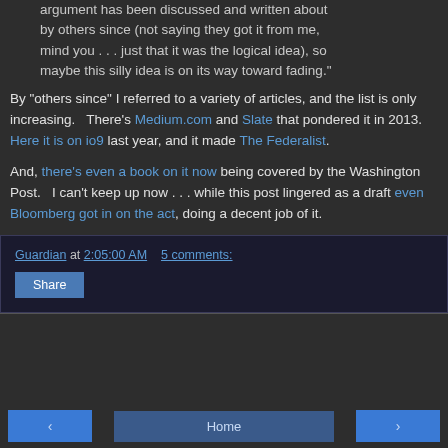argument has been discussed and written about by others since (not saying they got it from me, mind you . . . just that it was the logical idea), so maybe this silly idea is on its way toward fading."
By "others since" I referred to a variety of articles, and the list is only increasing.   There's Medium.com and Slate that pondered it in 2013.  Here it is on io9 last year, and it made The Federalist.
And, there's even a book on it now being covered by the Washington Post.   I can't keep up now . . . while this post lingered as a draft even Bloomberg got in on the act, doing a decent job of it.
Guardian at 2:05:00 AM   5 comments:
Share
Home